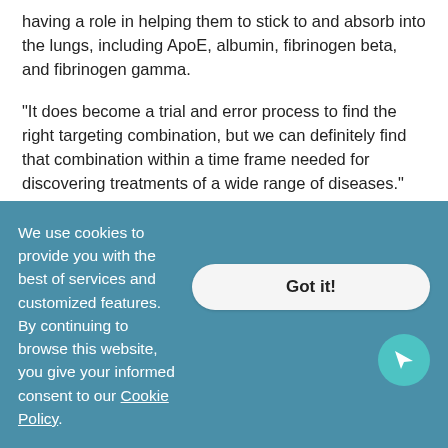having a role in helping them to stick to and absorb into the lungs, including ApoE, albumin, fibrinogen beta, and fibrinogen gamma.
“It does become a trial and error process to find the right targeting combination, but we can definitely find that combination within a time frame needed for discovering treatments of a wide range of diseases.”
Read the original article on Tufts University.
COMMENTS
We use cookies to provide you with the best of services and customized features. By continuing to browse this website, you give your informed consent to our Cookie Policy.